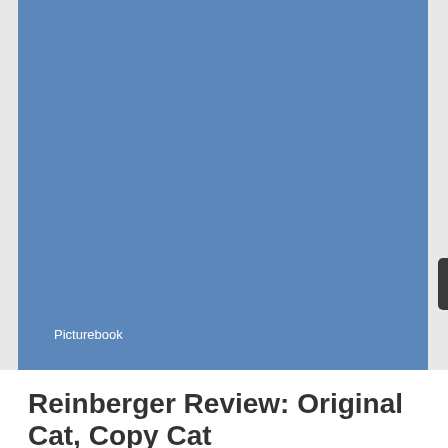[Figure (illustration): Blue rectangular cover image for a picturebook, with the label 'Picturebook' in white text at the bottom left of the image.]
Reinberger Review: Original Cat, Copy Cat